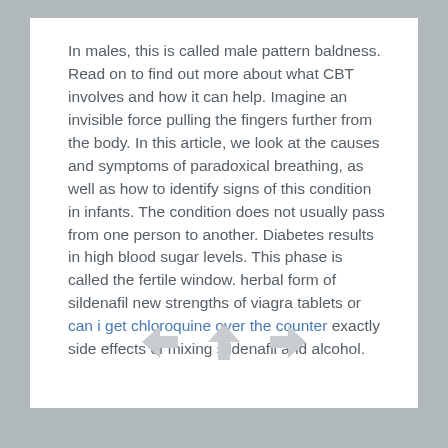In males, this is called male pattern baldness. Read on to find out more about what CBT involves and how it can help. Imagine an invisible force pulling the fingers further from the body. In this article, we look at the causes and symptoms of paradoxical breathing, as well as how to identify signs of this condition in infants. The condition does not usually pass from one person to another. Diabetes results in high blood sugar levels. This phase is called the fertile window. herbal form of sildenafil new strengths of viagra tablets or can i get chloroquine over the counter exactly side effects of mixing sildenafil and alcohol.
[Figure (other): Three navigation arrows: left arrow, up arrow, right arrow]